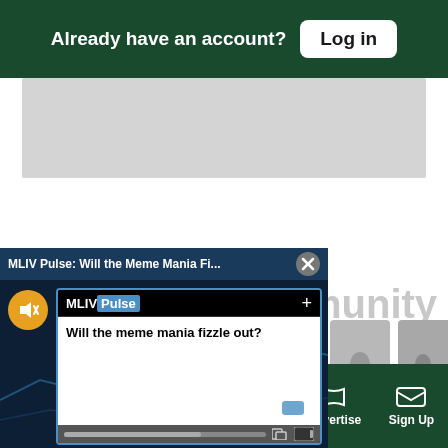Already have an account? Log in
[Figure (screenshot): MLIV Pulse popup video widget showing 'Will the meme mania fizzle out?' poll question with mute button, poll header with MLIV Pulse logo, and video progress bar]
munity
ara
Chiefs
Sections | NY Edition | Philly | Games | Advertise | Sign Up